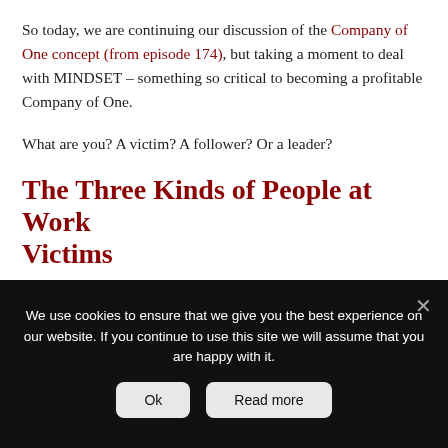So today, we are continuing our discussion of the Company of One concept (from episode 174), but taking a moment to deal with MINDSET – something so critical to becoming a profitable Company of One.
What are you? A victim? A follower? Or a leader?
The Three Kinds of People at Work
Victims
We use cookies to ensure that we give you the best experience on our website. If you continue to use this site we will assume that you are happy with it.